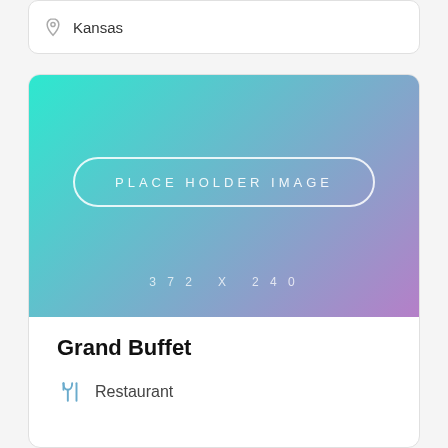Kansas
[Figure (illustration): Placeholder image with teal-to-purple gradient background, rounded rectangle border with text 'PLACE HOLDER IMAGE' and size '372 X 240' below]
Grand Buffet
Restaurant